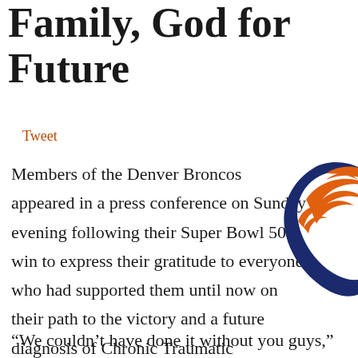Family, God for Future
Tweet
Members of the Denver Broncos appeared in a press conference on Sunday evening following their Super Bowl 50 win to express their gratitude to everyone who had supported them until now on their path to the victory and a future diagnosis of Chronic Traumatic Encephalopathy, or CTE.
[Figure (logo): Denver Broncos style logo — orange wing/feather shape with dark navy blue crescent outline]
“We couldn’t have done it without you guys,” read safety